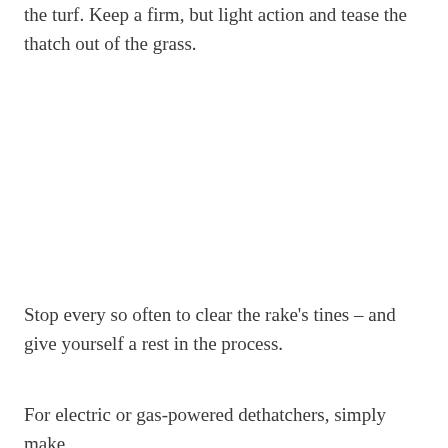the turf. Keep a firm, but light action and tease the thatch out of the grass.
Stop every so often to clear the rake's tines – and give yourself a rest in the process.
For electric or gas-powered dethatchers, simply make